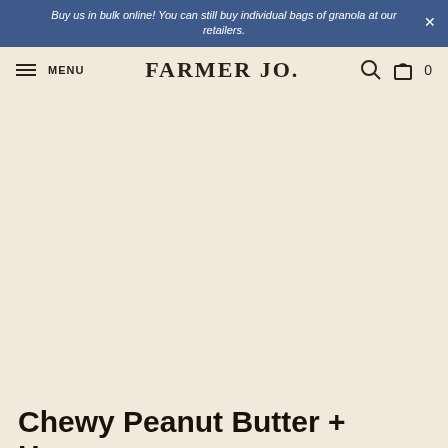Buy us in bulk online! You can still buy individual bags of granola at our retailers.
FARMER JO.
[Figure (other): Large blank product image area with warm beige background]
Chewy Peanut Butter + Honey Mackie